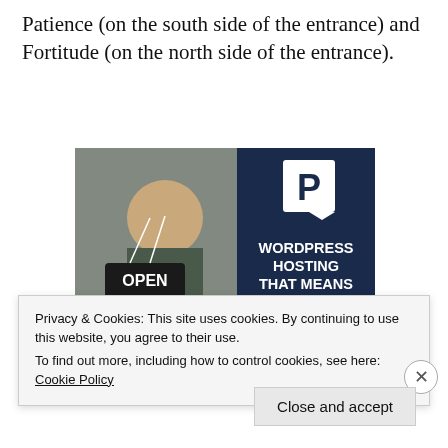Patience (on the south side of the entrance) and Fortitude (on the north side of the entrance).
[Figure (illustration): Advertisement image split in two halves: left side shows a smiling woman holding an OPEN sign in a store window; right side is dark navy blue with a white P parking-style logo icon and white bold text reading 'WORDPRESS HOSTING THAT MEANS BUSINESS.']
Privacy & Cookies: This site uses cookies. By continuing to use this website, you agree to their use.
To find out more, including how to control cookies, see here: Cookie Policy
Close and accept